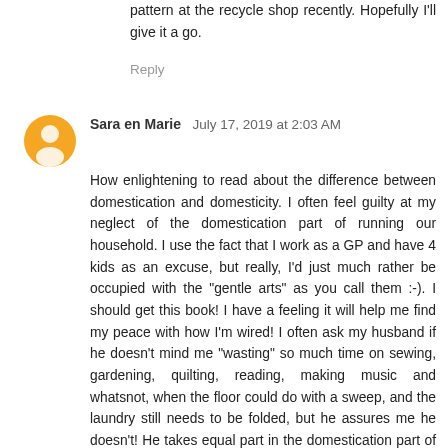pattern at the recycle shop recently. Hopefully I'll give it a go.
Reply
Sara en Marie  July 17, 2019 at 2:03 AM
How enlightening to read about the difference between domestication and domesticity. I often feel guilty at my neglect of the domestication part of running our household. I use the fact that I work as a GP and have 4 kids as an excuse, but really, I'd just much rather be occupied with the "gentle arts" as you call them :-). I should get this book! I have a feeling it will help me find my peace with how I'm wired! I often ask my husband if he doesn't mind me "wasting" so much time on sewing, gardening, quilting, reading, making music and whatsnot, when the floor could do with a sweep, and the laundry still needs to be folded, but he assures me he doesn't! He takes equal part in the domestication part of our household (we both work outside the house for about 30 hours a week), but very little in the domesticity part. Lately he has started to do more in this area, like making jam, and baking pancakes, and I feel a bit